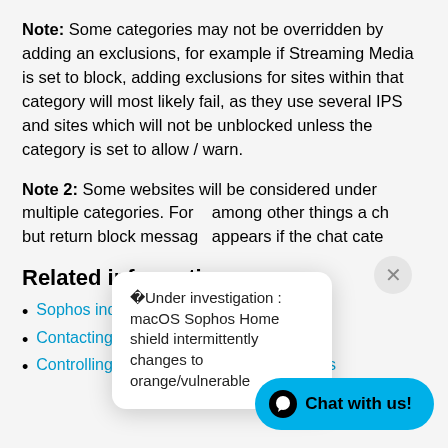Note: Some categories may not be overridden by adding an exclusions, for example if Streaming Media is set to block, adding exclusions for sites within that category will most likely fail, as they use several IPS and sites which will not be unblocked unless the category is set to allow / warn.
Note 2: Some websites will be considered under multiple categories. For ... among other things a ch... but return block messag... appears if the chat cate...
[Figure (other): Popup tooltip with close X button. Text: Under investigation : macOS Sophos Home shield intermittently changes to orange/vulnerable]
Related information
Sophos indicates that a site
Contacting Sophos Home Support
Controlling websites my family can access
[Figure (other): Chat with us! button in cyan/blue with black speech bubble icon]